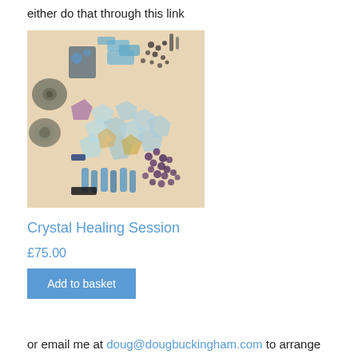either do that through this link
[Figure (photo): Photo of various crystals and stones spread on a light wooden surface, including blue aquamarine chunks, dark purple beads, blue crystal points, and decorative metallic objects resembling ammonite fossils.]
Crystal Healing Session
£75.00
Add to basket
or email me at doug@dougbuckingham.com to arrange